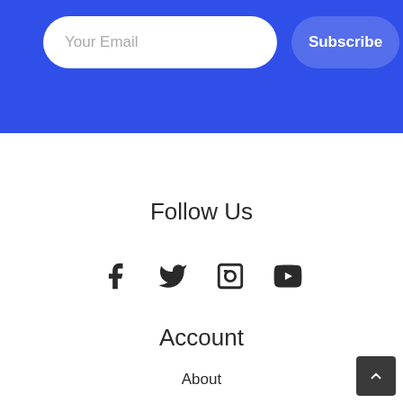[Figure (screenshot): Blue banner section with email input field showing 'Your Email' placeholder and a 'Subscribe' button]
Follow Us
[Figure (infographic): Four social media icons: Facebook, Twitter, Instagram (camera), YouTube]
Account
About
Partners
Press